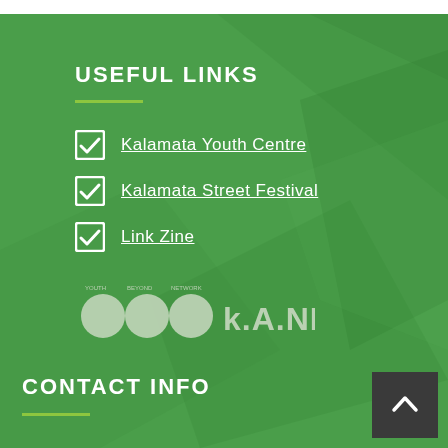USEFUL LINKS
Kalamata Youth Centre
Kalamata Street Festival
Link Zine
[Figure (logo): k.A.NE. logo with three circles and text]
CONTACT INFO